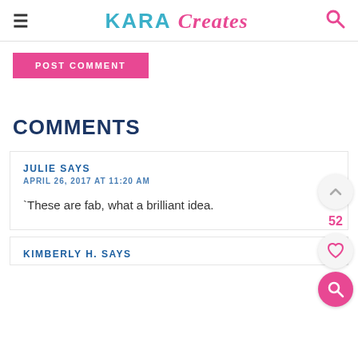KARA Creates
POST COMMENT
COMMENTS
JULIE SAYS
APRIL 26, 2017 AT 11:20 AM
`These are fab, what a brilliant idea.
KIMBERLY H. SAYS